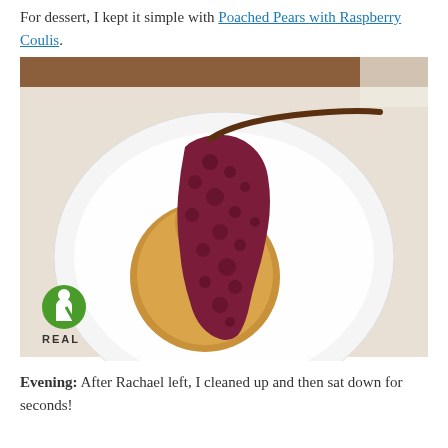For dessert, I kept it simple with Poached Pears with Raspberry Coulis.
[Figure (photo): A poached pear topped with dark red raspberry coulis, served on a white plate. A green 'REAL' logo is visible in the bottom left corner of the image.]
Evening: After Rachael left, I cleaned up and then sat down for seconds!